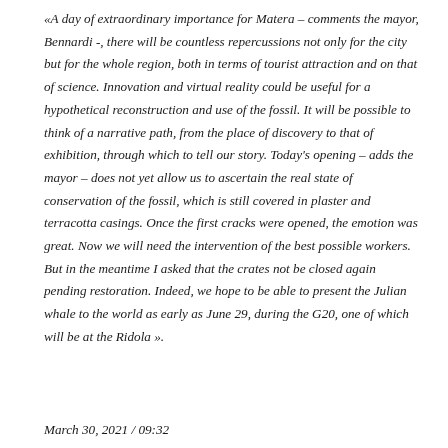«A day of extraordinary importance for Matera – comments the mayor, Bennardi -, there will be countless repercussions not only for the city but for the whole region, both in terms of tourist attraction and on that of science. Innovation and virtual reality could be useful for a hypothetical reconstruction and use of the fossil. It will be possible to think of a narrative path, from the place of discovery to that of exhibition, through which to tell our story. Today's opening – adds the mayor – does not yet allow us to ascertain the real state of conservation of the fossil, which is still covered in plaster and terracotta casings. Once the first cracks were opened, the emotion was great. Now we will need the intervention of the best possible workers. But in the meantime I asked that the crates not be closed again pending restoration. Indeed, we hope to be able to present the Julian whale to the world as early as June 29, during the G20, one of which will be at the Ridola ».
March 30, 2021 / 09:32